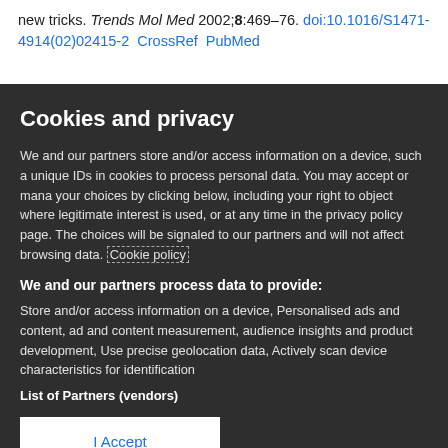new tricks. Trends Mol Med 2002;8:469–76. doi:10.1016/S1471-4914(02)02415-2  CrossRef  PubMed
Cookies and privacy
We and our partners store and/or access information on a device, such as unique IDs in cookies to process personal data. You may accept or manage your choices by clicking below, including your right to object where legitimate interest is used, or at any time in the privacy policy page. These choices will be signaled to our partners and will not affect browsing data. Cookie policy
We and our partners process data to provide:
Store and/or access information on a device, Personalised ads and content, ad and content measurement, audience insights and product development, Use precise geolocation data, Actively scan device characteristics for identification
List of Partners (vendors)
I Accept